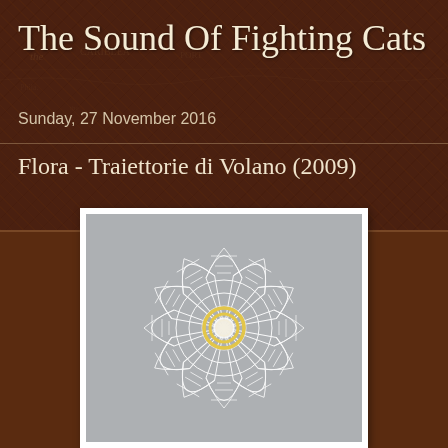The Sound Of Fighting Cats
Sunday, 27 November 2016
Flora - Traiettorie di Volano (2009)
[Figure (photo): Top-down view of a white wire-frame geometric sculpture resembling a flower or shuttlecock with a yellow center, photographed against a gray background.]